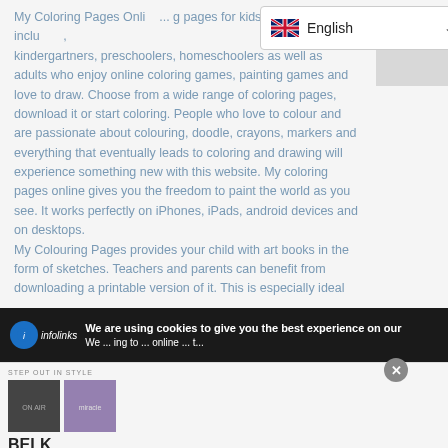My Coloring Pages Online ... coloring pages for kids of all ages including kindergartners, preschoolers, homeschoolers as well as adults who enjoy online coloring games, painting games and love to draw. Choose from a wide range of coloring pages, download it or start coloring. People who love to colour and are passionate about colouring, doodle, crayons, markers and everything that eventually leads to coloring and drawing will experience something new with this website. My coloring pages online gives you the freedom to paint the world as you see. It works perfectly on iPhones, iPads, android devices and on desktops.
My Colouring Pages provides your child with art books in the form of sketches. Teachers and parents can benefit from downloading a printable version of it. This is especially ideal
[Figure (screenshot): Language selector dropdown showing English with UK flag]
[Figure (screenshot): Gray placeholder box with small black dot]
We are using cookies to give you the best experience on our
[Figure (screenshot): Advertisement banner for BELK - Step out in style. www.belk.com with product images and navigation button]